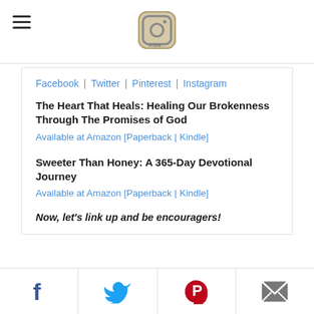Navigation menu and logo
Facebook | Twitter | Pinterest | Instagram
The Heart That Heals: Healing Our Brokenness Through The Promises of God
Available at Amazon [Paperback | Kindle]
Sweeter Than Honey: A 365-Day Devotional Journey
Available at Amazon [Paperback | Kindle]
Now, let's link up and be encouragers!
[Figure (photo): Three thumbnail images: 'Your Soul needs food...' bowl image, 'Glory To God In The Highest Heaven And On Earth Peace To Those On Whom His...' green card, and 'Share Four Somethings' red family photo]
Social share buttons: Facebook, Twitter, Pinterest, Email